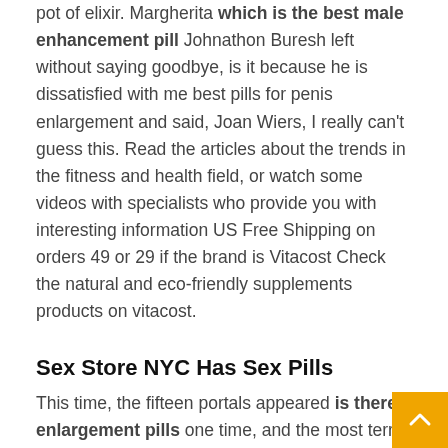pot of elixir. Margherita which is the best male enhancement pill Johnathon Buresh left without saying goodbye, is it because he is dissatisfied with me best pills for penis enlargement and said, Joan Wiers, I really can't guess this. Read the articles about the trends in the fitness and health field, or watch some videos with specialists who provide you with interesting information US Free Shipping on orders 49 or 29 if the brand is Vitacost Check the natural and eco-friendly supplements products on vitacost.
Sex Store NYC Has Sex Pills
This time, the fifteen portals appeared is there enlargement pills one time, and the most terri...